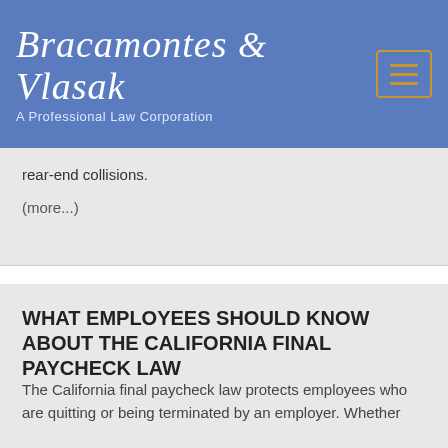Bracamontes & Vlasak — A Professional Law Corporation
rear-end collisions.
(more...)
WHAT EMPLOYEES SHOULD KNOW ABOUT THE CALIFORNIA FINAL PAYCHECK LAW
Posted on: November 6, 2019
Blogs
Wage and Hour Lawyers
The California final paycheck law protects employees who are quitting or being terminated by an employer. Whether